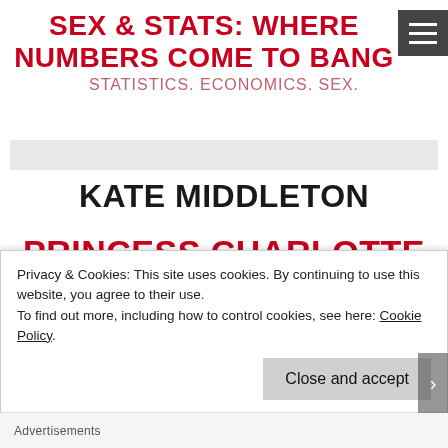SEX & STATS: WHERE NUMBERS COME TO BANG
STATISTICS. ECONOMICS. SEX.
KATE MIDDLETON
PRINCESS CHARLOTTE MAKES HISTORY
Privacy & Cookies: This site uses cookies. By continuing to use this website, you agree to their use. To find out more, including how to control cookies, see here: Cookie Policy
Close and accept
Advertisements